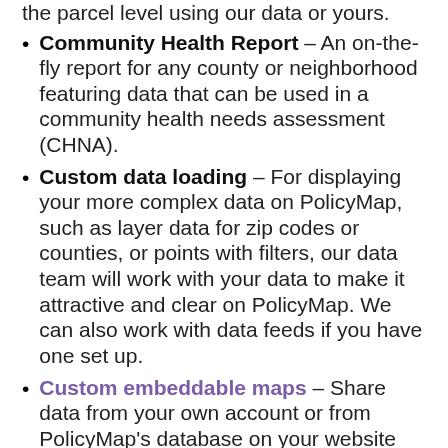the parcel level using our data or yours.
Community Health Report – An on-the-fly report for any county or neighborhood featuring data that can be used in a community health needs assessment (CHNA).
Custom data loading – For displaying your more complex data on PolicyMap, such as layer data for zip codes or counties, or points with filters, our data team will work with your data to make it attractive and clear on PolicyMap. We can also work with data feeds if you have one set up.
Custom embeddable maps – Share data from your own account or from PolicyMap's database on your website with key indicators related to your project. The maps are complete with easy-to-navigate menus to select and compare different indicators.